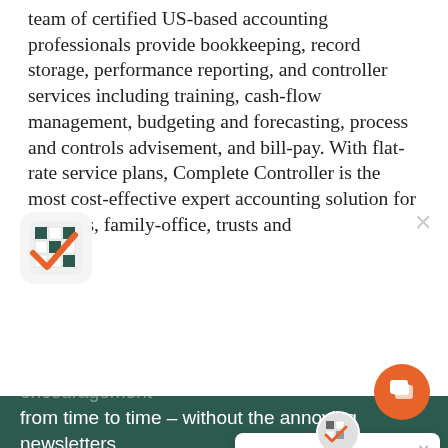team of certified US-based accounting professionals provide bookkeeping, record storage, performance reporting, and controller services including training, cash-flow management, budgeting and forecasting, process and controls advisement, and bill-pay. With flat-rate service plans, Complete Controller is the most cost-effective expert accounting solution for business, family-office, trusts and
[Figure (screenshot): Dark green popup overlay with app icon (crossword/checklist graphic), title 'Send Only the Good Stuff', body text 'Sign up for Helpful Hints, Deadline Reminders and a little encouragement from time to time – without the annoying newsletters.', a nested chat bubble saying 'Questions about bookkeeping services? I'm happy to help.', an orange chat button, and a 'Yes Please' button at the bottom.]